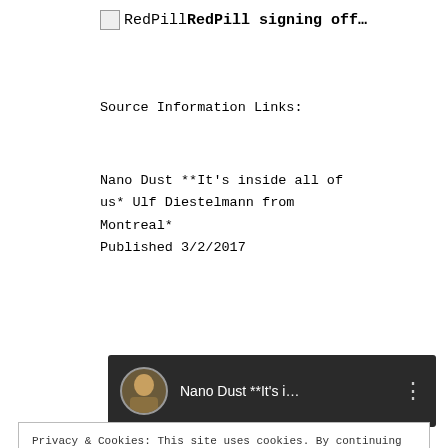RedPillRedPill signing off…
Source Information Links:
Nano Dust **It's inside all of us* Ulf Diestelmann from Montreal*
Published 3/2/2017
[Figure (screenshot): Video thumbnail showing a YouTube-style card with a circular avatar and title 'Nano Dust **It's i...' with a three-dot menu icon on dark background]
Privacy & Cookies: This site uses cookies. By continuing to use this website, you agree to their use.
To find out more, including how to control cookies, see here: Unsere Cookie-Richtlinie
Close and accept